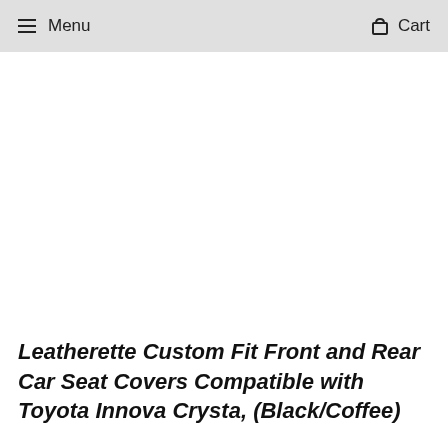Menu  Cart
Leatherette Custom Fit Front and Rear Car Seat Covers Compatible with Toyota Innova Crysta, (Black/Coffee)